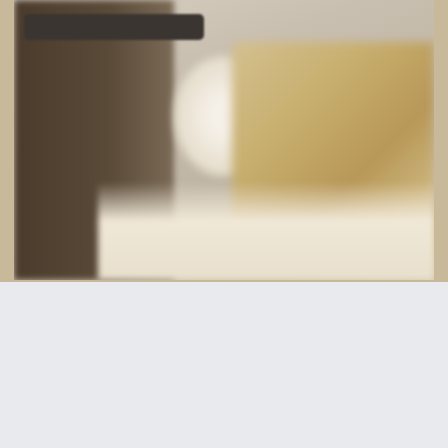[Figure (photo): A blurred interior scene showing what appears to be a room with a dark wooden cabinet or furniture on the left, a white globe lamp shade in the center, and what appears to be a woven or rattan chair in warm golden tones on the right. A dark rectangular bar (possibly a label or sign) is visible near the top left. The overall image is softly blurred with warm neutral tones.]
Hailing from the 1950s and '60s is the iconic Acapulco chair, whose clever designer is strangely unknown. The story goes that while visiting Acapulco in the 50s, a French tourist was uncomfortably hot sitting in a solidly-